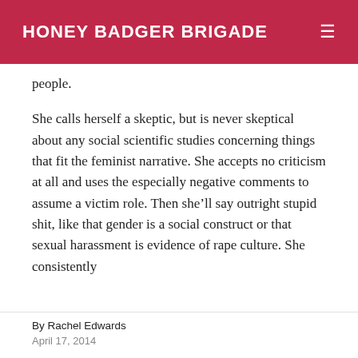HONEY BADGER BRIGADE
people.

She calls herself a skeptic, but is never skeptical about any social scientific studies concerning things that fit the feminist narrative. She accepts no criticism at all and uses the especially negative comments to assume a victim role. Then she’ll say outright stupid shit, like that gender is a social construct or that sexual harassment is evidence of rape culture. She consistently
By Rachel Edwards
April 17, 2014